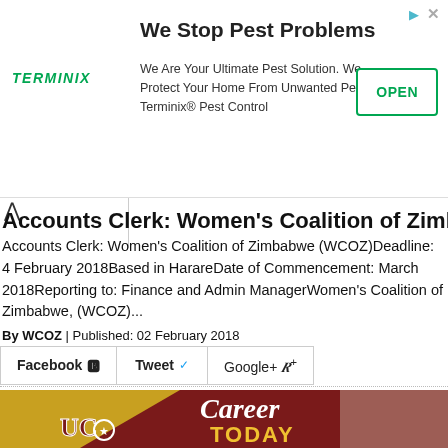[Figure (screenshot): Terminix advertisement banner: 'We Stop Pest Problems - We Are Your Ultimate Pest Solution. We Protect Your Home From Unwanted Pests. Terminix® Pest Control' with OPEN button]
Accounts Clerk: Women's Coalition of Zimbabwe (WCOZ
Accounts Clerk: Women's Coalition of Zimbabwe (WCOZ)Deadline: 4 February 2018Based in HarareDate of Commencement: March 2018Reporting to: Finance and Admin ManagerWomen's Coalition of Zimbabwe, (WCOZ)...
By WCOZ | Published: 02 February 2018
Facebook  Tweet  Google+ +
[Figure (photo): Career Today advertisement featuring UC logo and a smiling man with dreadlocks and glasses]